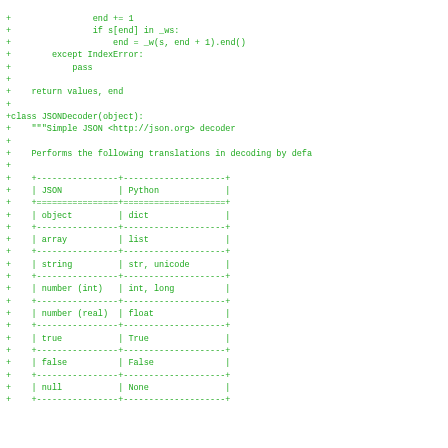[Figure (screenshot): A code diff snippet showing Python source code in green monospace font on white background. Shows code for a JSONDecoder class with a docstring containing a translation table mapping JSON types to Python types.]